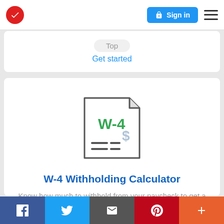Sign in
Top
Get started
[Figure (illustration): W-4 form icon with green W-4 text and a dollar sign, representing a withholding tax form]
W-4 Withholding Calculator
Know how much to withhold from your paycheck to get a bigger refund
Facebook | Twitter | Email | Pinterest | Plus